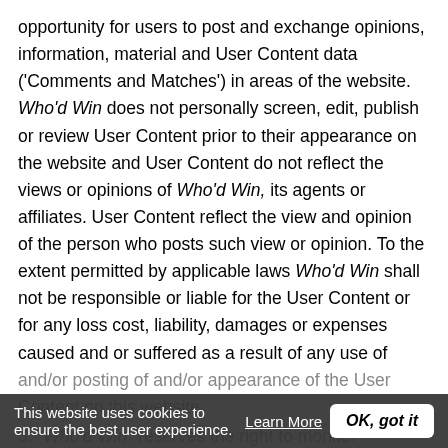opportunity for users to post and exchange opinions, information, material and User Content data ('Comments and Matches') in areas of the website. Who'd Win does not personally screen, edit, publish or review User Content prior to their appearance on the website and User Content do not reflect the views or opinions of Who'd Win, its agents or affiliates. User Content reflect the view and opinion of the person who posts such view or opinion. To the extent permitted by applicable laws Who'd Win shall not be responsible or liable for the User Content or for any loss cost, liability, damages or expenses caused and or suffered as a result of any use of and/or posting of and/or appearance of the User Content on this website.
3. Who'd Win reserves the right to monitor
This website uses cookies to ensure the best user experience.